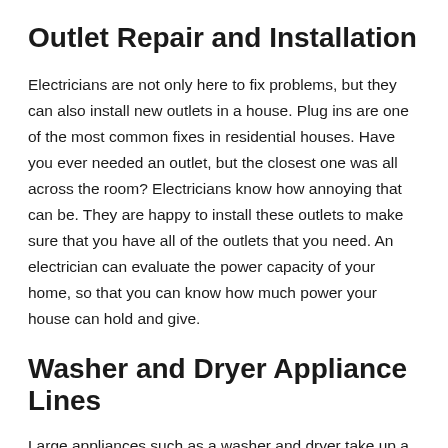Outlet Repair and Installation
Electricians are not only here to fix problems, but they can also install new outlets in a house. Plug ins are one of the most common fixes in residential houses. Have you ever needed an outlet, but the closest one was all across the room? Electricians know how annoying that can be. They are happy to install these outlets to make sure that you have all of the outlets that you need. An electrician can evaluate the power capacity of your home, so that you can know how much power your house can hold and give.
Washer and Dryer Appliance Lines
Large appliances such as a washer and dryer take up a lot of